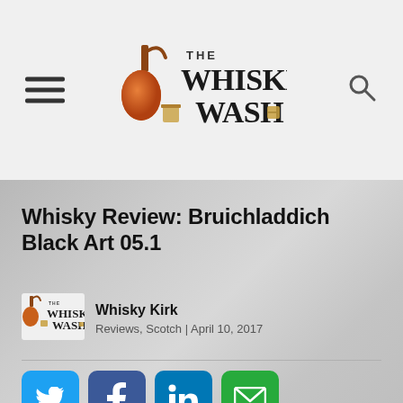The Whiskey Wash
Whisky Review: Bruichladdich Black Art 05.1
Whisky Kirk
Reviews, Scotch | April 10, 2017